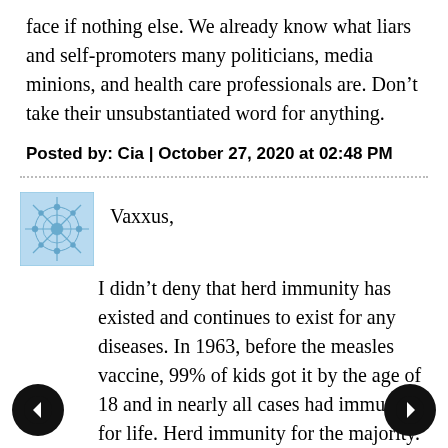face if nothing else. We already know what liars and self-promoters many politicians, media minions, and health care professionals are. Don't take their unsubstantiated word for anything.
Posted by: Cia | October 27, 2020 at 02:48 PM
Vaxxus,
I didn't deny that herd immunity has existed and continues to exist for any diseases. In 1963, before the measles vaccine, 99% of kids got it by the age of 18 and in nearly all cases had immunity for life. Herd immunity for the majority.
I said that we do not know if this will apply to